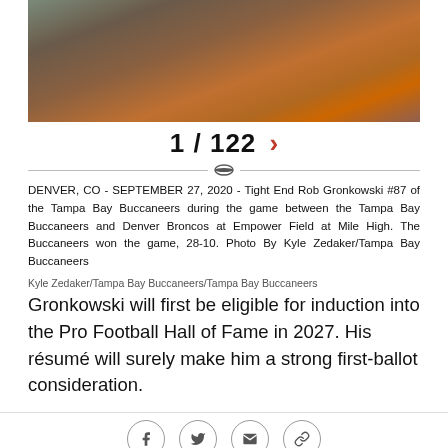[Figure (photo): Football action photo showing players in Tampa Bay Buccaneers and Denver Broncos uniforms during a game]
1 / 122 >
DENVER, CO - SEPTEMBER 27, 2020 - Tight End Rob Gronkowski #87 of the Tampa Bay Buccaneers during the game between the Tampa Bay Buccaneers and Denver Broncos at Empower Field at Mile High. The Buccaneers won the game, 28-10. Photo By Kyle Zedaker/Tampa Bay Buccaneers
Kyle Zedaker/Tampa Bay Buccaneers/Tampa Bay Buccaneers
Gronkowski will first be eligible for induction into the Pro Football Hall of Fame in 2027. His résumé will surely make him a strong first-ballot consideration.